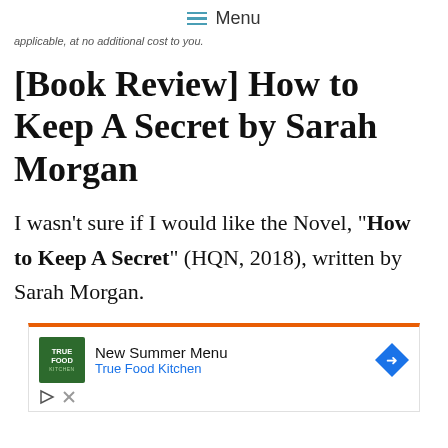≡ Menu
applicable, at no additional cost to you.
[Book Review] How to Keep A Secret by Sarah Morgan
I wasn't sure if I would like the Novel, “How to Keep A Secret” (HQN, 2018), written by Sarah Morgan.
[Figure (other): Advertisement banner for True Food Kitchen. Orange top border, green logo with TRUE FOOD KITCHEN text, headline 'New Summer Menu', subtext 'True Food Kitchen' in blue, blue diamond arrow icon on right, play and close icons at bottom.]